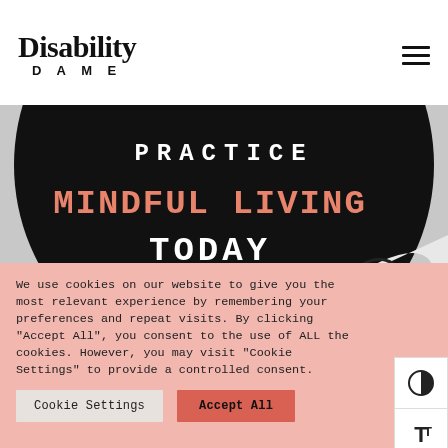Disability Dame
[Figure (illustration): Book cover or promotional image with black circular background showing text: PRACTICE MINDFUL LIVING TODAY — 'MINDFUL LIVING' in salmon/coral color, 'PRACTICE' and 'TODAY' in white, set against a black oval/circle on a grey background]
We use cookies on our website to give you the most relevant experience by remembering your preferences and repeat visits. By clicking "Accept All", you consent to the use of ALL the cookies. However, you may visit "Cookie Settings" to provide a controlled consent.
Cookie Settings | Accept All